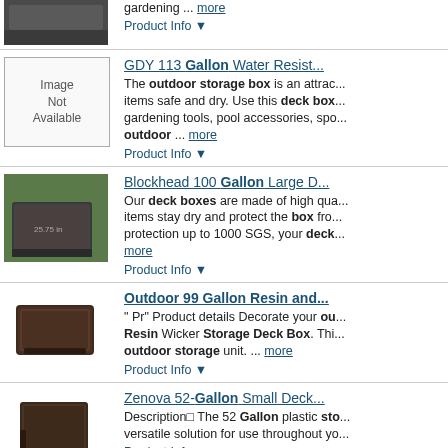[Figure (photo): Partial view of a dark outdoor storage box product image at top of page]
gardening ... more
Product Info ▼
[Figure (photo): Image Not Available placeholder for GDY 113 Gallon Water Resistant product]
GDY 113 Gallon Water Resist...
The outdoor storage box is an attrac... items safe and dry. Use this deck box... gardening tools, pool accessories, spo... outdoor ... more
Product Info ▼
[Figure (photo): Photo of Blockhead 100 Gallon Large Deck Box, dark rattan-style box in garden setting]
Blockhead 100 Gallon Large D...
Our deck boxes are made of high qua... items stay dry and protect the box fro... protection up to 1000 SGS, your deck... more
Product Info ▼
[Figure (photo): Photo of dark brown Outdoor 99 Gallon Resin wicker storage deck box]
Outdoor 99 Gallon Resin and...
" Pr" Product details Decorate your ou... Resin Wicker Storage Deck Box. Thi... outdoor storage unit. ... more
Product Info ▼
[Figure (photo): Photo of Zenova 52-Gallon Small Deck Box, dark brown square storage box]
Zenova 52-Gallon Small Deck...
Description□ The 52 Gallon plastic sto... versatile solution for use throughout yo...
Product Info ▼